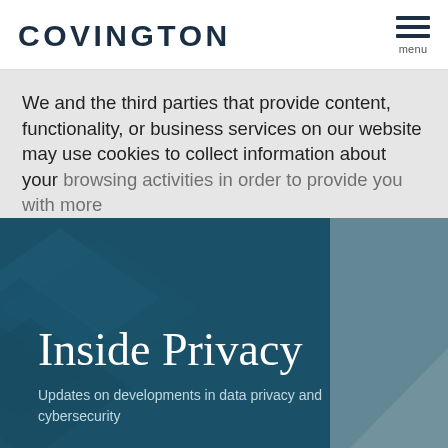COVINGTON
We and the third parties that provide content, functionality, or business services on our website may use cookies to collect information about your browsing activities in order to provide you with more
Inside Privacy
Updates on developments in data privacy and cybersecurity